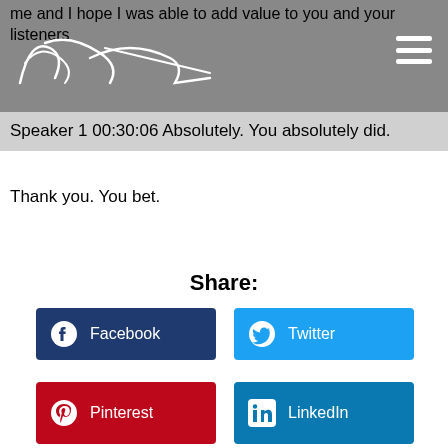me and I hope I was able to add value to you and your listeners
Speaker 1 00:30:06 Absolutely. You absolutely did. Thank you. You bet.
Share:
Facebook
Twitter
Pinterest
LinkedIn